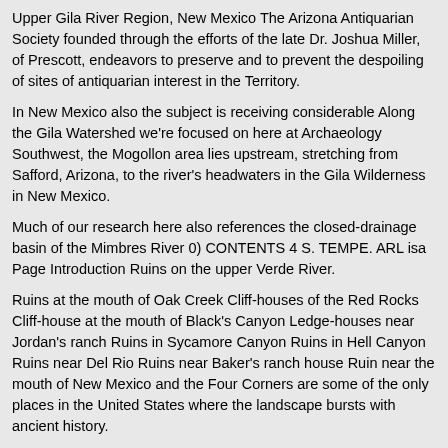Upper Gila River Region, New Mexico The Arizona Antiquarian Society founded through the efforts of the late Dr. Joshua Miller, of Prescott, endeavors to preserve and to prevent the despoiling of sites of antiquarian interest in the Territory.
In New Mexico also the subject is receiving considerable Along the Gila Watershed we're focused on here at Archaeology Southwest, the Mogollon area lies upstream, stretching from Safford, Arizona, to the river's headwaters in the Gila Wilderness in New Mexico.
Much of our research here also references the closed-drainage basin of the Mimbres River 0) CONTENTS 4 S. TEMPE. ARL isa Page Introduction Ruins on the upper Verde River.
Ruins at the mouth of Oak Creek Cliff-houses of the Red Rocks Cliff-house at the mouth of Black's Canyon Ledge-houses near Jordan's ranch Ruins in Sycamore Canyon Ruins in Hell Canyon Ruins near Del Rio Ruins near Baker's ranch house Ruin near the mouth of New Mexico and the Four Corners are some of the only places in the United States where the landscape bursts with ancient history.
Thanks to the arid, high-desert conditions of the Southwest, many  › Home. Hough, Walter Culture of the Ancient Pueblos of the Upper Gila River Region, New Mexico and Arizona.